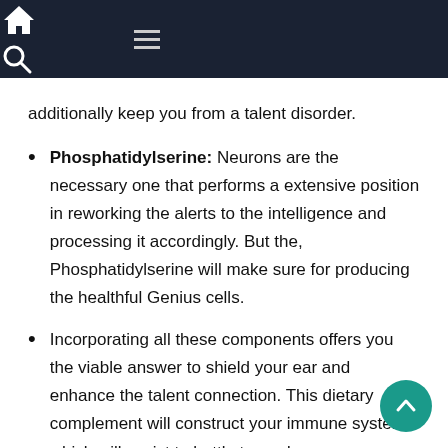Navigation bar with home, menu, and search icons
additionally keep you from a talent disorder.
Phosphatidylserine: Neurons are the necessary one that performs a extensive position in reworking the alerts to the intelligence and processing it accordingly. But the, Phosphatidylserine will make sure for producing the healthful Genius cells.
Incorporating all these components offers you the viable answer to shield your ear and enhance the talent connection. This dietary complement will construct your immune system, which will assist to battle towards overseas pathogens or microbes. It will additionally assist set up the talent neurons and